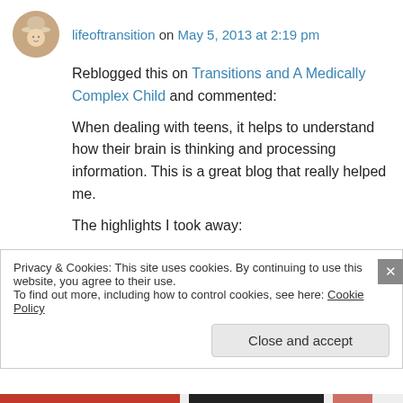lifeoftransition on May 5, 2013 at 2:19 pm
Reblogged this on Transitions and A Medically Complex Child and commented:
When dealing with teens, it helps to understand how their brain is thinking and processing information. This is a great blog that really helped me.
The highlights I took away:
1. Adolescents can actually outperform adults in regulating impulses. Which circumstances was...
Privacy & Cookies: This site uses cookies. By continuing to use this website, you agree to their use. To find out more, including how to control cookies, see here: Cookie Policy
Close and accept